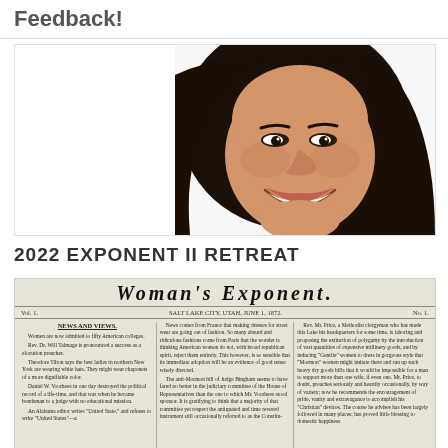Feedback!
[Figure (photo): Smiling woman with long dark hair, headshot photo against white background]
2022 EXPONENT II RETREAT
[Figure (photo): Scanned image of an old newspaper: Woman's Exponent, Vol. 1, Salt Lake City, Utah, June 1, 1872, No. 1, with columns including NEWS AND VIEWS]